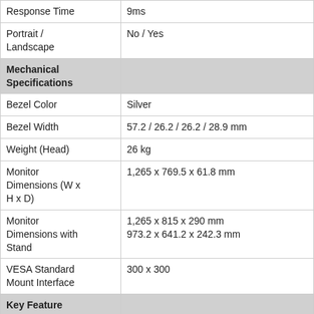| Specification | Value |
| --- | --- |
| Response Time | 9ms |
| Portrait / Landscape | No / Yes |
| Mechanical Specifications |  |
| Bezel Color | Silver |
| Bezel Width | 57.2 / 26.2 / 26.2 / 28.9 mm |
| Weight (Head) | 26 kg |
| Monitor Dimensions (W x H x D) | 1,265 x 769.5 x 61.8 mm |
| Monitor Dimensions with Stand | 1,265 x 815 x 290 mm
973.2 x 641.2 x 242.3 mm |
| VESA Standard Mount Interface | 300 x 300 |
| Key Feature (Hardware) |  |
| CPU | AMD Ryzen Embedded V1605B |
| Graphics | AMD Radeon Vega |
| Internal Memory | 128 GB (eMMC), 8 GB (RAM) |
| Wi-Fi | 802.11ac 2 x 2 |
| Bluetooth | Bluetooth 5.0 |
| Temperature Sensor | Yes |
| Auto Brightness Sensor | Yes |